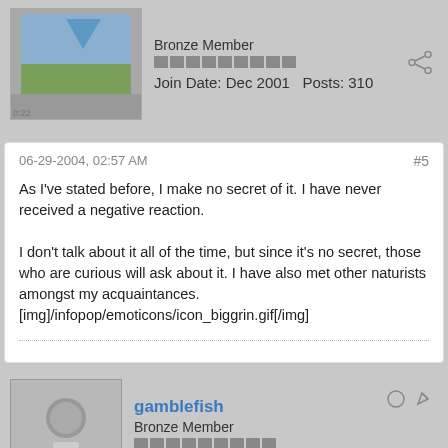Bronze Member
Join Date: Dec 2001   Posts: 310
06-29-2004, 02:57 AM
#5
As I've stated before, I make no secret of it. I have never received a negative reaction.

I don't talk about it all of the time, but since it's no secret, those who are curious will ask about it. I have also met other naturists amongst my acquaintances. [img]/infopop/emoticons/icon_biggrin.gif[/img]
gamblefish
Bronze Member
Join Date: Jan 2002   Posts: 818
06-29-2004, 04:01 AM
#6
quote:
Originally posted by OZJames: